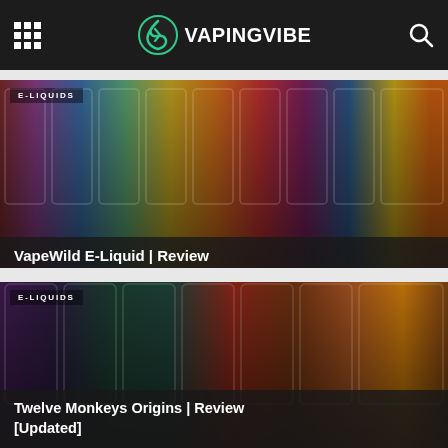VAPINGVIBE
[Figure (photo): Row of VapeWild e-liquid bottles in various colors and flavors on a shelf]
E-LIQUIDS
VapeWild E-Liquid | Review
[Figure (photo): Row of Twelve Monkeys Origins e-liquid bottles in various flavors including grape, lime, and red flavors]
E-LIQUIDS
Twelve Monkeys Origins | Review [Updated]
[Figure (photo): Partial view of white/clear vape device bottles at bottom of page]